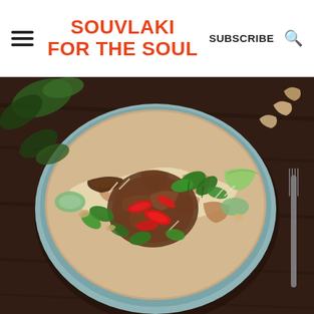SOUVLAKI FOR THE SOUL | SUBSCRIBE
[Figure (photo): Overhead top-down photo of a large light blue bowl filled with an Asian-style noodle salad dish featuring shredded chicken or duck, red chillies, bean sprouts, fresh herbs including cilantro and mint, cucumber, cashews, and crispy shallots, served on a dark wooden table with a fork visible on the right side]